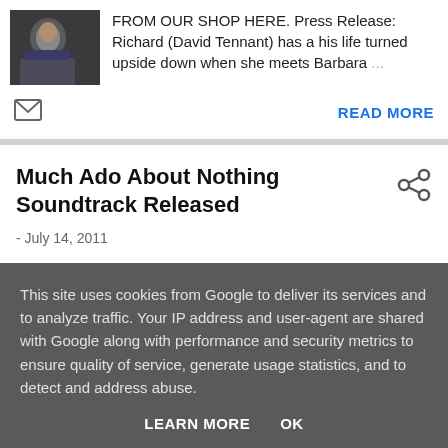FROM OUR SHOP HERE. Press Release: Richard (David Tennant) has a his life turned upside down when she meets Barbara …
READ MORE
Much Ado About Nothing Soundtrack Released
- July 14, 2011
This site uses cookies from Google to deliver its services and to analyze traffic. Your IP address and user-agent are shared with Google along with performance and security metrics to ensure quality of service, generate usage statistics, and to detect and address abuse.
LEARN MORE   OK